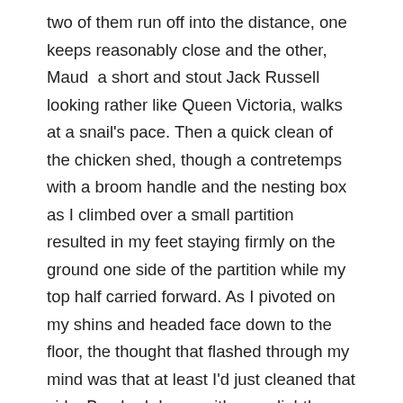two of them run off into the distance, one keeps reasonably close and the other, Maud  a short and stout Jack Russell looking rather like Queen Victoria, walks at a snail's pace. Then a quick clean of the chicken shed, though a contretemps with a broom handle and the nesting box as I climbed over a small partition resulted in my feet staying firmly on the ground one side of the partition while my top half carried forward. As I pivoted on my shins and headed face down to the floor, the thought that flashed through my mind was that at least I'd just cleaned that side. Brushed down, with one slightly twisted knee and thankful that nobody was looking, I decided to retreat inside for more ladylike pastimes and with no-one to roll their eyes or mutter under their breath "too much time on your hands", I baked and played about with flowers and leaves.